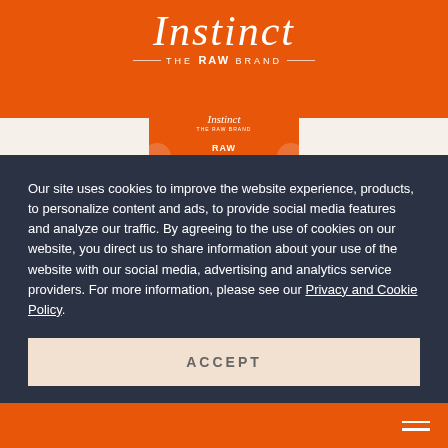Instinct – The RAW Brand
[Figure (photo): Instinct Raw Longevity 100% Freeze-Dried product package in orange, partially visible at top of page]
Our site uses cookies to improve the website experience, products, to personalize content and ads, to provide social media features and analyze our traffic. By agreeing to the use of cookies on our website, you direct us to share information about your use of the website with our social media, advertising and analytics service providers. For more information, please see our Privacy and Cookie Policy.
ACCEPT